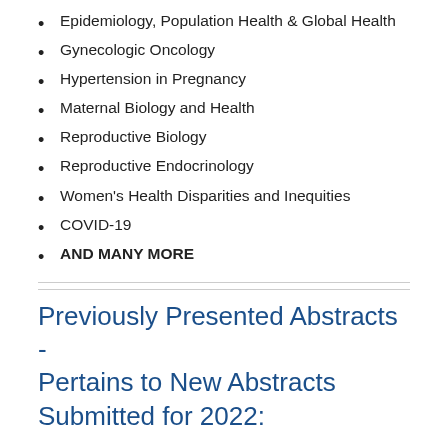Epidemiology, Population Health & Global Health
Gynecologic Oncology
Hypertension in Pregnancy
Maternal Biology and Health
Reproductive Biology
Reproductive Endocrinology
Women's Health Disparities and Inequities
COVID-19
AND MANY MORE
Previously Presented Abstracts - Pertains to New Abstracts Submitted for 2022:
Abstracts cannot contain data previously presented at a national or international